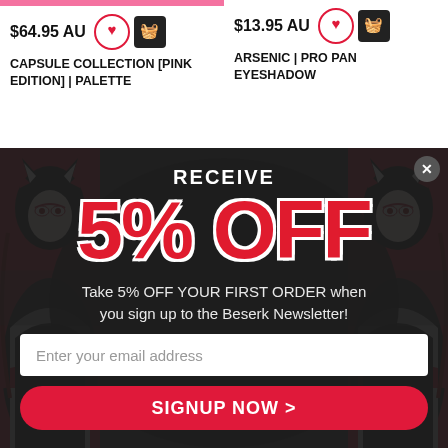$64.95 AU
CAPSULE COLLECTION [PINK EDITION] | PALETTE
$13.95 AU
ARSENIC | PRO PAN EYESHADOW
[Figure (illustration): Anime-style geisha/fox spirit illustration with red and black kimono, white fox mask, repeated symmetrically on left and right sides of popup, dark grey background with faint cross/plus pattern]
RECEIVE
5% OFF
Take 5% OFF YOUR FIRST ORDER when you sign up to the Beserk Newsletter!
Enter your email address
SIGNUP NOW >